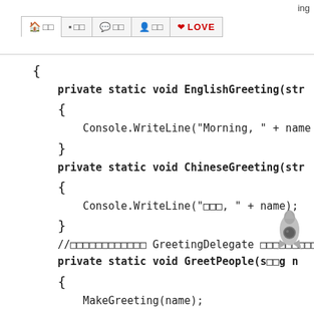ing  🏠□□  □□□  💬□□  👤□□  ❤ LOVE
{
    private static void EnglishGreeting(str
    {
        Console.WriteLine("Morning, " + name
    }
    private static void ChineseGreeting(str
    {
        Console.WriteLine("□□□, " + name);
    }
    //□□□□□□□□□□□□ GreetingDelegate □□□□□□□□□
    private static void GreetPeople(s□□g n
    {
        MakeGreeting(name);
    }
    static void Main(string[] args)